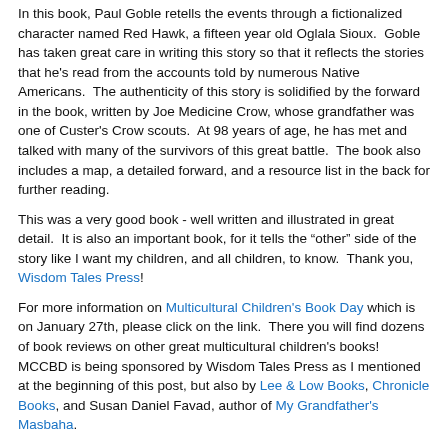In this book, Paul Goble retells the events through a fictionalized character named Red Hawk, a fifteen year old Oglala Sioux.  Goble has taken great care in writing this story so that it reflects the stories that he's read from the accounts told by numerous Native Americans.  The authenticity of this story is solidified by the forward in the book, written by Joe Medicine Crow, whose grandfather was one of Custer's Crow scouts.  At 98 years of age, he has met and talked with many of the survivors of this great battle.  The book also includes a map, a detailed forward, and a resource list in the back for further reading.
This was a very good book - well written and illustrated in great detail.  It is also an important book, for it tells the "other" side of the story like I want my children, and all children, to know.  Thank you, Wisdom Tales Press!
For more information on Multicultural Children's Book Day which is on January 27th, please click on the link.  There you will find dozens of book reviews on other great multicultural children's books!  MCCBD is being sponsored by Wisdom Tales Press as I mentioned at the beginning of this post, but also by Lee & Low Books, Chronicle Books, and Susan Daniel Favad, author of My Grandfather's Masbaha.